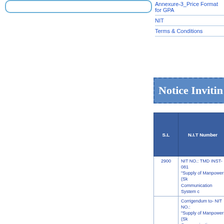Annexure-3_Price Format for GPA
NIT
Terms & Conditions
Notice Inviting
| S.L | N.I.T Number |
| --- | --- |
| 2900 | NIT NO.: TMD INST- 081
"Supply of Manpower (Sk
Communication System c |
|  | Corrigendum to- NIT NO.:
"Supply of Manpower (Sk
Communication System c |
| 2899 | EXPRESSION OF INTER
"Design, installation, com |